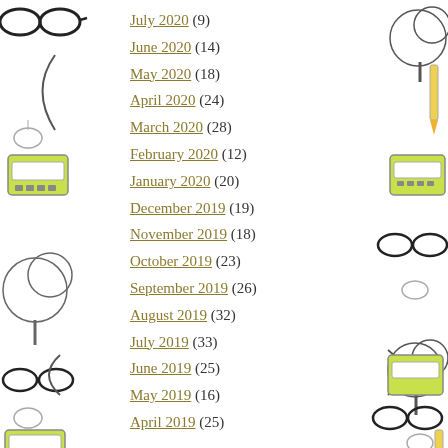July 2020 (9)
June 2020 (14)
May 2020 (18)
April 2020 (24)
March 2020 (28)
February 2020 (12)
January 2020 (20)
December 2019 (19)
November 2019 (18)
October 2019 (23)
September 2019 (26)
August 2019 (32)
July 2019 (33)
June 2019 (25)
May 2019 (16)
April 2019 (25)